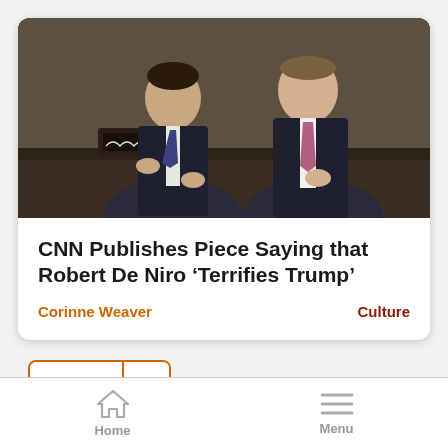[Figure (photo): Two men in suits seated at a desk, appearing to be in a TV studio or similar setting. Left man has dark hair and wears a dark suit with patterned tie; right man has lighter hair and wears a dark suit with a pink/mauve tie.]
CNN Publishes Piece Saying that Robert De Niro ‘Terrifies Trump’
Corinne Weaver
Culture
Page 1 »
Home   Menu